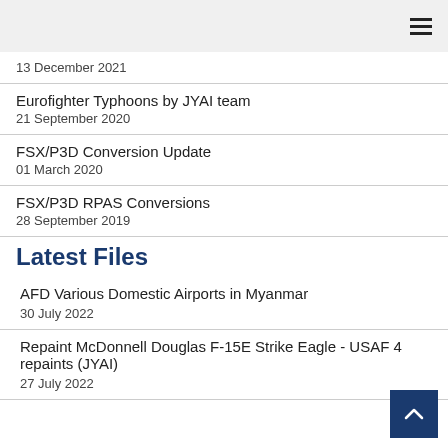≡
13 December 2021
Eurofighter Typhoons by JYAI team
21 September 2020
FSX/P3D Conversion Update
01 March 2020
FSX/P3D RPAS Conversions
28 September 2019
Latest Files
AFD Various Domestic Airports in Myanmar
30 July 2022
Repaint McDonnell Douglas F-15E Strike Eagle - USAF 4 repaints (JYAI)
27 July 2022